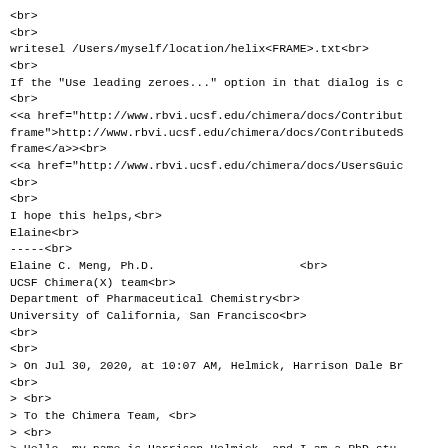<br>
<br>
writesel /Users/myself/location/helix<FRAME>.txt<br>
<br>
If the "Use leading zeroes..." option in that dialog is c
<br>
<<a href="http://www.rbvi.ucsf.edu/chimera/docs/Contribut
frame">http://www.rbvi.ucsf.edu/chimera/docs/ContributedS
frame</a>><br>
<<a href="http://www.rbvi.ucsf.edu/chimera/docs/UsersGuic
<br>
<br>
I hope this helps,<br>
Elaine<br>
-----<br>
Elaine C. Meng, Ph.D.                     <br>
UCSF Chimera(X) team<br>
Department of Pharmaceutical Chemistry<br>
University of California, San Francisco<br>
<br>
<br>
> On Jul 30, 2020, at 10:07 AM, Helmick, Harrison Dale Br
<br>
> <br>
> To the Chimera Team, <br>
> <br>
> Hello, my name is Harrison Helmick, and I am a PhD stu
<br>
> I am interested in developing more relationships betwe
<br>